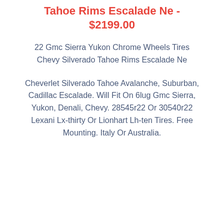Tahoe Rims Escalade Ne - $2199.00
22 Gmc Sierra Yukon Chrome Wheels Tires Chevy Silverado Tahoe Rims Escalade Ne
Cheverlet Silverado Tahoe Avalanche, Suburban, Cadillac Escalade. Will Fit On 6lug Gmc Sierra, Yukon, Denali, Chevy. 28545r22 Or 30540r22 Lexani Lx-thirty Or Lionhart Lh-ten Tires. Free Mounting. Italy Or Australia.